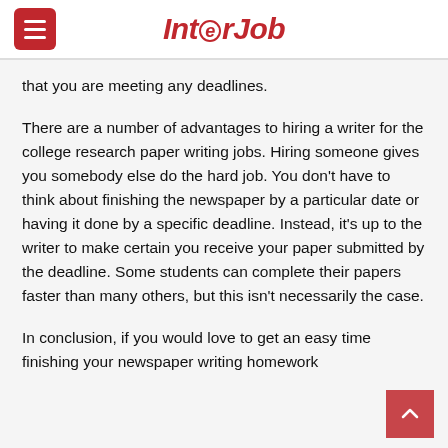InterJob
that you are meeting any deadlines.
There are a number of advantages to hiring a writer for the college research paper writing jobs. Hiring someone gives you somebody else do the hard job. You don't have to think about finishing the newspaper by a particular date or having it done by a specific deadline. Instead, it's up to the writer to make certain you receive your paper submitted by the deadline. Some students can complete their papers faster than many others, but this isn't necessarily the case.
In conclusion, if you would love to get an easy time finishing your newspaper writing homework